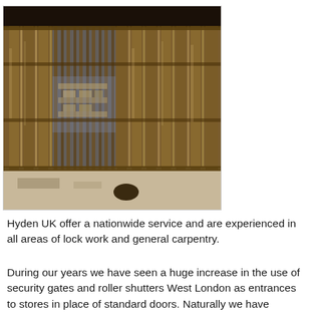[Figure (photo): A commercial security gate / roller shutter installation in a store, showing vertical metal bars and reflective glass panels with a wooden/bronze-toned frame. The setting appears to be a retail environment under construction or renovation.]
Hyden UK offer a nationwide service and are experienced in all areas of lock work and general carpentry.
During our years we have seen a huge increase in the use of security gates and roller shutters West London as entrances to stores in place of standard doors. Naturally we have evolved